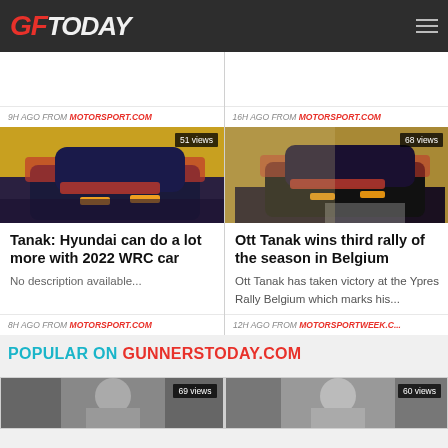GFToday
9H AGO FROM MOTORSPORT.COM
16H AGO FROM MOTORSPORT.COM
[Figure (photo): Rally car (Hyundai) with 51 views badge]
Tanak: Hyundai can do a lot more with 2022 WRC car
No description available...
8H AGO FROM MOTORSPORT.COM
[Figure (photo): Rally car with dust cloud, 68 views badge]
Ott Tanak wins third rally of the season in Belgium
Ott Tanak has taken victory at the Ypres Rally Belgium which marks his...
12H AGO FROM MOTORSPORTWEEK.C...
POPULAR ON GUNNERSTODAY.COM
[Figure (photo): Person photo with 69 views badge]
[Figure (photo): Person photo with 60 views badge]